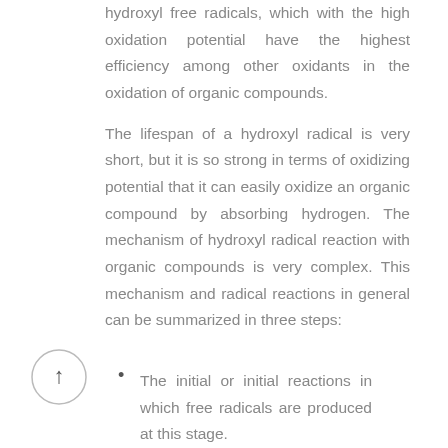hydroxyl free radicals, which with the high oxidation potential have the highest efficiency among other oxidants in the oxidation of organic compounds.
The lifespan of a hydroxyl radical is very short, but it is so strong in terms of oxidizing potential that it can easily oxidize an organic compound by absorbing hydrogen. The mechanism of hydroxyl radical reaction with organic compounds is very complex. This mechanism and radical reactions in general can be summarized in three steps:
The initial or initial reactions in which free radicals are produced at this stage.